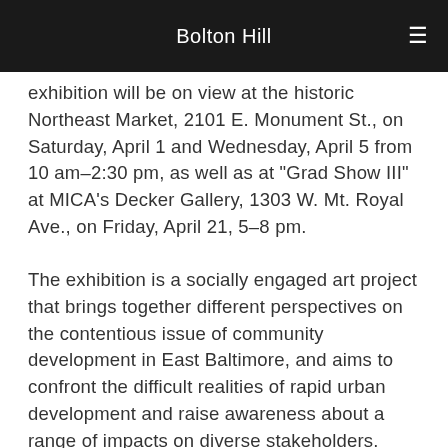Bolton Hill
exhibition will be on view at the historic Northeast Market, 2101 E. Monument St., on Saturday, April 1 and Wednesday, April 5 from 10 am–2:30 pm, as well as at “Grad Show III” at MICA’s Decker Gallery, 1303 W. Mt. Royal Ave., on Friday, April 21, 5–8 pm.
The exhibition is a socially engaged art project that brings together different perspectives on the contentious issue of community development in East Baltimore, and aims to confront the difficult realities of rapid urban development and raise awareness about a range of impacts on diverse stakeholders.
Hamburger’s portraits use salvaged formstone debris and audio narratives to honor residents